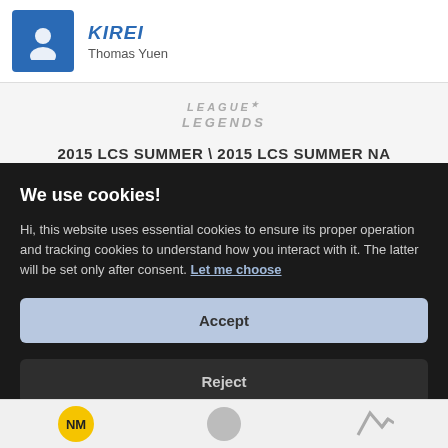KIREI
Thomas Yuen
2015 LCS SUMMER \ 2015 LCS SUMMER NA
2015-07-27 00:00:00
STATS
We use cookies!
Hi, this website uses essential cookies to ensure its proper operation and tracking cookies to understand how you interact with it. The latter will be set only after consent. Let me choose
Accept
Reject